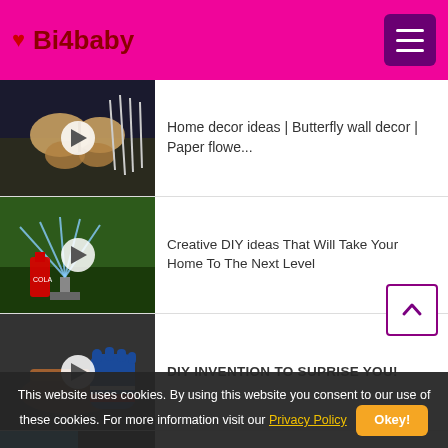Bi4baby
Home decor ideas | Butterfly wall decor | Paper flowe...
Creative DIY ideas That Will Take Your Home To The Next Level
DIY INVENTION TO SUPRISE YOU!
28 AMAZING DIY BOWL IDEAS || Cute Crafts For Home by 5-Minute DECOR!
This website uses cookies. By using this website you consent to our use of these cookies. For more information visit our Privacy Policy   Okey!